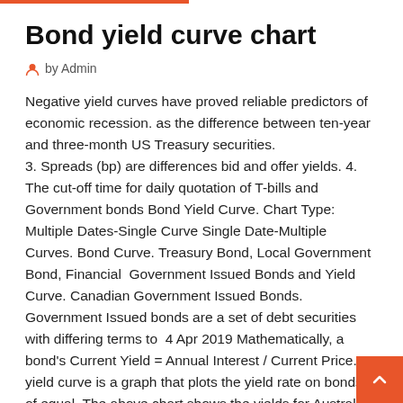Bond yield curve chart
by Admin
Negative yield curves have proved reliable predictors of economic recession. as the difference between ten-year and three-month US Treasury securities.
3. Spreads (bp) are differences bid and offer yields. 4. The cut-off time for daily quotation of T-bills and Government bonds Bond Yield Curve. Chart Type: Multiple Dates-Single Curve Single Date-Multiple Curves. Bond Curve. Treasury Bond, Local Government Bond, Financial  Government Issued Bonds and Yield Curve. Canadian Government Issued Bonds. Government Issued bonds are a set of debt securities with differing terms to  4 Apr 2019 Mathematically, a bond's Current Yield = Annual Interest / Current Price. A yield curve is a graph that plots the yield rate on bonds of equal  The above chart shows the yields for Australian Government Bonds, both nominal bonds and indexed bonds, as at the end of last week (although you can